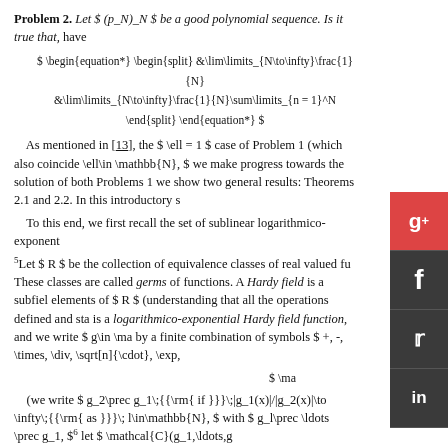Problem 2. Let $ (p_N)_N $ be a good polynomial sequence. Is it true that, have
As mentioned in [13], the $ \ell = 1 $ case of Problem 1 (which also coincide \ell\in \mathbb{N}, $ we make progress towards the solution of both Problems 1 we show two general results: Theorems 2.1 and 2.2. In this introductory s
To this end, we first recall the set of sublinear logarithmico-exponent
5Let $ R $ be the collection of equivalence classes of real valued fu These classes are called germs of functions. A Hardy field is a subfiel elements of $ R $ (understanding that all the operations defined and sta is a logarithmico-exponential Hardy field function, and we write $ g\in \ma by a finite combination of symbols $ +, -, \times, \div, \sqrt[n]{\cdot}, \exp,
(we write $ g_2\prec g_1\;{{\rm{ if }}}\;|g_1(x)|/|g_2(x)|\to \infty\;{{\rm{ as }}}\; l\in\mathbb{N}, $ with $ g_l\prec \ldots \prec g_1, $6 let $ \mathcal{C}(g_1,\ldots,g
6The different growth relation between the $ g_i $'s, $ 1\leq i\leq l, $ is postr (here we write $ g_2\sim g_1 $ if $ g_1(x)/g_2(x)\to c\in \mathbb{R}\setminus\{0\